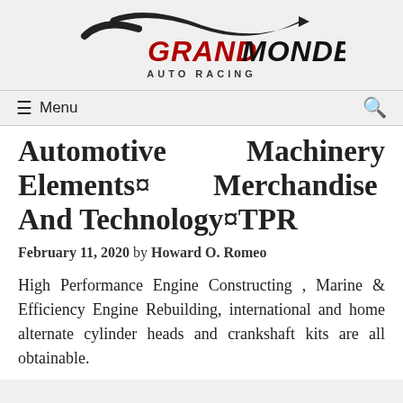[Figure (logo): Grand Monde Auto Racing logo with swoosh graphic and red/black text]
≡ Menu  🔍
Automotive Machinery Elements¤ Merchandise And Technology¤TPR
February 11, 2020 by Howard O. Romeo
High Performance Engine Constructing , Marine & Efficiency Engine Rebuilding, international and home alternate cylinder heads and crankshaft kits are all obtainable.